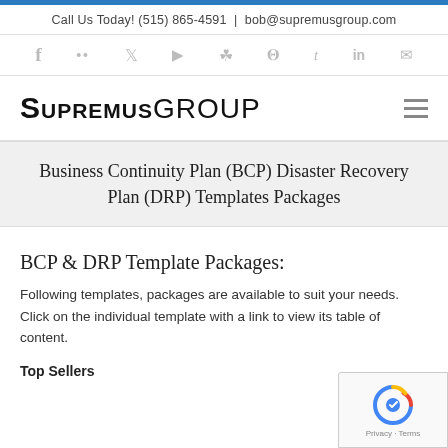Call Us Today! (515) 865-4591 | bob@supremusgroup.com
[Figure (infographic): Social media icons row: Facebook, Flickr, Twitter, YouTube, Instagram, Pinterest, Tumblr, LinkedIn, Email]
[Figure (logo): SupremusGroup logo in bold black uppercase text]
Business Continuity Plan (BCP) Disaster Recovery Plan (DRP) Templates Packages
BCP & DRP Template Packages:
Following templates, packages are available to suit your needs. Click on the individual template with a link to view its table of content.
Top Sellers